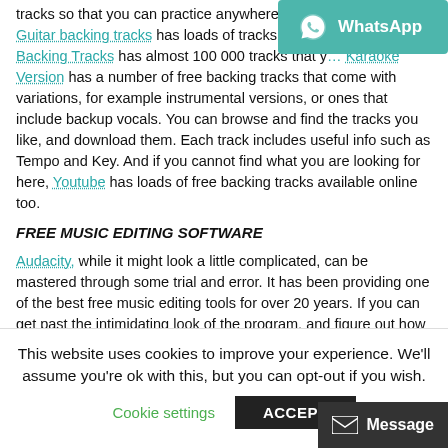tracks so that you can practice anywhere, both online and off. Guitar backing tracks has loads of tracks created specifi… Backing Tracks has almost 100 000 tracks that y… Karaoke Version has a number of free backing tracks that come with variations, for example instrumental versions, or ones that include backup vocals. You can browse and find the tracks you like, and download them. Each track includes useful info such as Tempo and Key. And if you cannot find what you are looking for here, Youtube has loads of free backing tracks available online too.
[Figure (other): WhatsApp share button popup overlay in top-right corner, teal/green background with WhatsApp icon and text 'WhatsApp']
FREE MUSIC EDITING SOFTWARE
Audacity, while it might look a little complicated, can be mastered through some trial and error. It has been providing one of the best free music editing tools for over 20 years. If you can get past the intimidating look of the program, and figure out how to use the plugins, you can master the art of music editing for free! TIP: Watch some tutorials online! Ocenaudio is far simpler to use, and may be a better place to start if you are just beginning…
This website uses cookies to improve your experience. We'll assume you're ok with this, but you can opt-out if you wish.
Cookie settings   ACCEPT
[Figure (other): Message button in bottom-right corner, dark background with envelope icon and text 'Message']